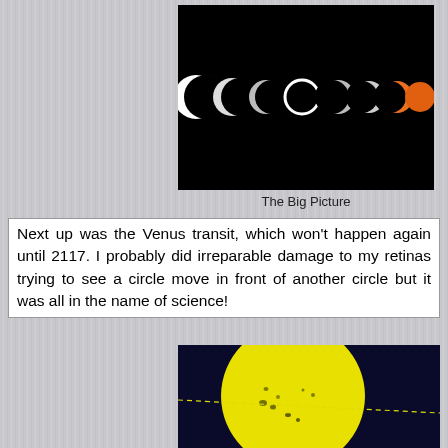[Figure (photo): Sequential phases of a solar eclipse shown left to right on black background, starting with crescent moons on left transitioning to an orange sun on the right]
The Big Picture
Next up was the Venus transit, which won't happen again until 2117. I probably did irreparable damage to my retinas trying to see a circle move in front of another circle but it was all in the name of science!
[Figure (photo): Yellow sun disk against dark blue background with dotted line tracking Venus transit path, dark sunspot markings visible on sun surface]